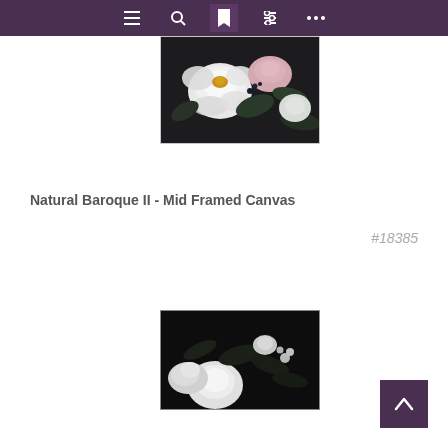Navigation bar with menu, search, book, filter, and more icons
[Figure (photo): Framed canvas print of Natural Baroque II showing white and pink roses with dark green foliage on dark background, color version]
Natural Baroque II - Mid Framed Canvas
#18385
[Figure (photo): Framed canvas print of Natural Baroque II showing white flowers and dark foliage on dark/black background, black and white version]